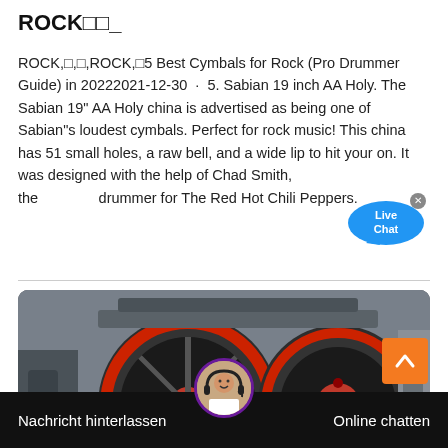ROCK□□_
ROCK,□,□,ROCK,□5 Best Cymbals for Rock (Pro Drummer Guide) in 20222021-12-30 · 5. Sabian 19 inch AA Holy. The Sabian 19" AA Holy china is advertised as being one of Sabian"s loudest cymbals. Perfect for rock music! This china has 51 small holes, a raw bell, and a wide lip to hit your on. It was designed with the help of Chad Smith, the drummer for The Red Hot Chili Peppers.
[Figure (photo): Industrial machinery with large black and red circular grinding wheels/rollers, appears to be rock crushing or milling equipment]
Nachricht hinterlassen   Online chatten